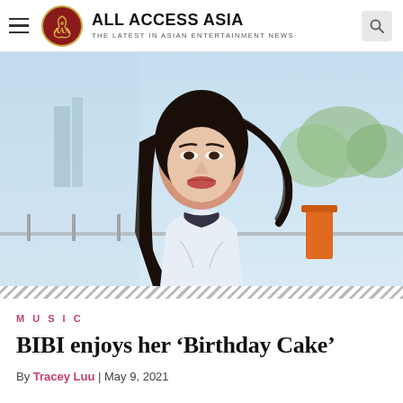ALL ACCESS ASIA — THE LATEST IN ASIAN ENTERTAINMENT NEWS
[Figure (photo): Young Asian woman with long dark hair running, wearing a white collared shirt with dark collar detail, outdoors on a bridge with green trees and urban background in soft focus.]
MUSIC
BIBI enjoys her 'Birthday Cake'
By Tracey Luu | May 9, 2021